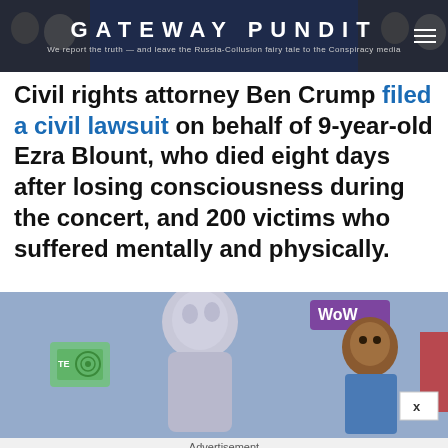GATEWAY PUNDIT — We report the truth — and leave the Russia-Collusion fairy tale to the Conspiracy media
Civil rights attorney Ben Crump filed a civil lawsuit on behalf of 9-year-old Ezra Blount, who died eight days after losing consciousness during the concert, and 200 victims who suffered mentally and physically.
[Figure (photo): Concert image showing a stylized figure and a young boy, with a logo visible in the background]
Advertisement
[Figure (photo): Ad featuring a celebrity photo of a man in dark clothing next to text reading '8 Celebrities Who've Lost Their Fandoms' — Herbeauty]